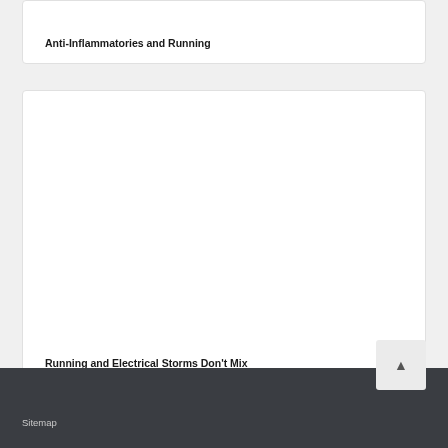Anti-Inflammatories and Running
[Figure (photo): Image placeholder for Running and Electrical Storms Don't Mix article card]
Running and Electrical Storms Don't Mix
Sitemap